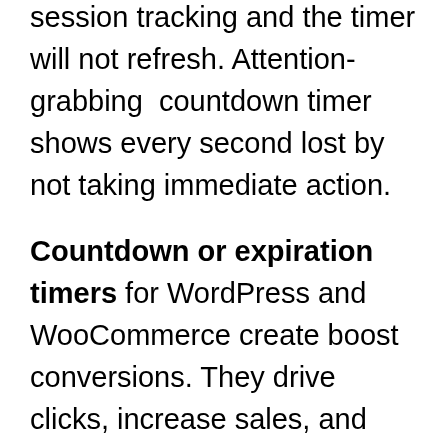session tracking and the timer will not refresh. Attention-grabbing  countdown timer shows every second lost by not taking immediate action.
Countdown or expiration timers for WordPress and WooCommerce create boost conversions. They drive clicks, increase sales, and highlight upcoming events or deadlines.
False reports claim scarcity timers boost conversions by up to 350 percent. That's baloney. Timers grab user's attention and make them focus on your offer boosting conversions. That motivates users to place an